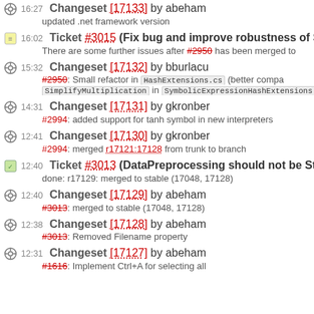16:27 Changeset [17133] by abeham — updated .net framework version
16:02 Ticket #3015 (Fix bug and improve robustness of Si... — There are some further issues after #2950 has been merged to
15:32 Changeset [17132] by bburlacu — #2950: Small refactor in HashExtensions.cs (better compa... SimplifyMultiplication in SymbolicExpressionHashExtensions.cs
14:31 Changeset [17131] by gkronber — #2994: added support for tanh symbol in new interpreters
12:41 Changeset [17130] by gkronber — #2994: merged r17121:17128 from trunk to branch
12:40 Ticket #3013 (DataPreprocessing should not be Sto... — done: r17129: merged to stable (17048, 17128)
12:40 Changeset [17129] by abeham — #3013: merged to stable (17048, 17128)
12:38 Changeset [17128] by abeham — #3013: Removed Filename property
12:31 Changeset [17127] by abeham — #1616: Implement Ctrl+A for selecting all